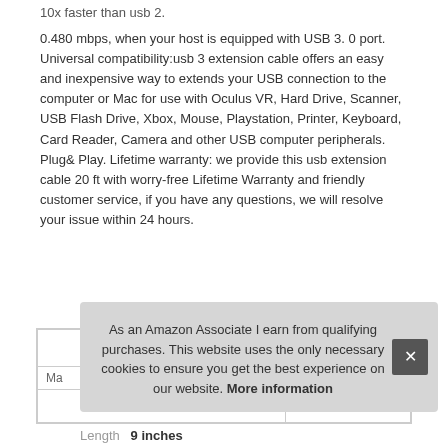10x faster than usb 2.
0.480 mbps, when your host is equipped with USB 3. 0 port. Universal compatibility:usb 3 extension cable offers an easy and inexpensive way to extends your USB connection to the computer or Mac for use with Oculus VR, Hard Drive, Scanner, USB Flash Drive, Xbox, Mouse, Playstation, Printer, Keyboard, Card Reader, Camera and other USB computer peripherals. Plug& Play. Lifetime warranty: we provide this usb extension cable 20 ft with worry-free Lifetime Warranty and friendly customer service, if you have any questions, we will resolve your issue within 24 hours.
| Ma... |  |
| Length | 9 inches |
As an Amazon Associate I earn from qualifying purchases. This website uses the only necessary cookies to ensure you get the best experience on our website. More information